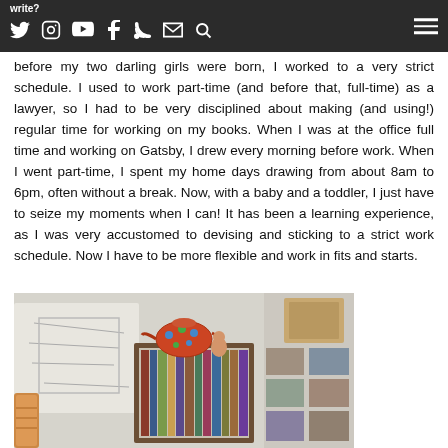write?
before my two darling girls were born, I worked to a very strict schedule. I used to work part-time (and before that, full-time) as a lawyer, so I had to be very disciplined about making (and using!) regular time for working on my books. When I was at the office full time and working on Gatsby, I drew every morning before work. When I went part-time, I spent my home days drawing from about 8am to 6pm, often without a break. Now, with a baby and a toddler, I just have to seize my moments when I can! It has been a learning experience, as I was very accustomed to devising and sticking to a strict work schedule. Now I have to be more flexible and work in fits and starts.
[Figure (photo): A bookshelf with art supplies and books, a colorful decorative teapot and a ceramic figure on top, sketches and artwork pinned on the wall behind.]